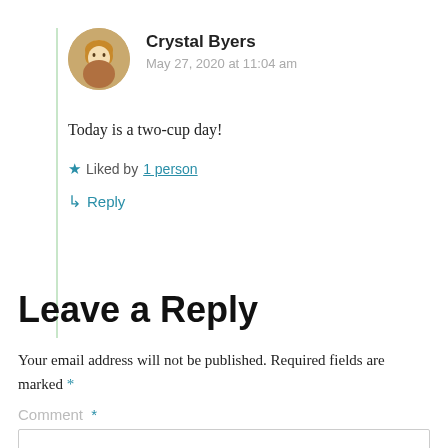Crystal Byers
May 27, 2020 at 11:04 am
Today is a two-cup day!
Liked by 1 person
Reply
Leave a Reply
Your email address will not be published. Required fields are marked *
Comment *